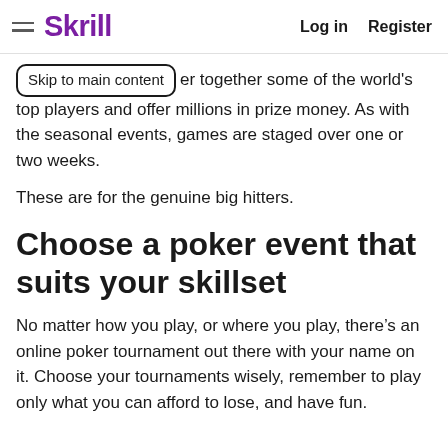Skrill  Log in  Register
Skip to main content  …er together some of the world's top players and offer millions in prize money. As with the seasonal events, games are staged over one or two weeks.
These are for the genuine big hitters.
Choose a poker event that suits your skillset
No matter how you play, or where you play, there's an online poker tournament out there with your name on it. Choose your tournaments wisely, remember to play only what you can afford to lose, and have fun.